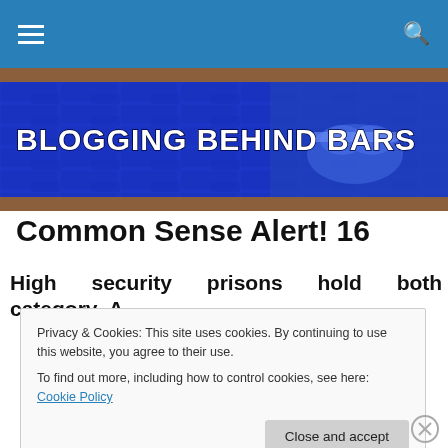Navigation bar with hamburger menu and search icon
[Figure (illustration): Blogging Behind Bars banner: blue brick wall background with handcuffed hands, white bold text 'BLOGGING BEHIND BARS']
Common Sense Alert! 16
High security prisons hold both category A
Privacy & Cookies: This site uses cookies. By continuing to use this website, you agree to their use.
To find out more, including how to control cookies, see here: Cookie Policy
Close and accept